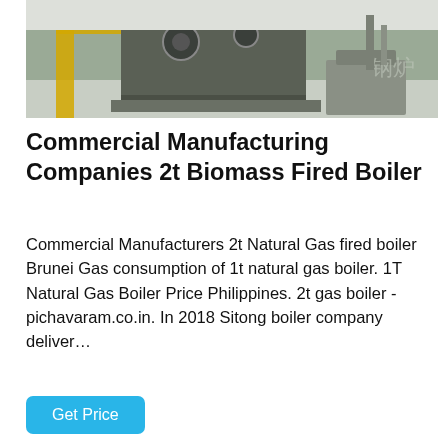[Figure (photo): Industrial boiler/biomass equipment in a factory setting, with yellow frame structures visible and machinery components, inside a warehouse with white walls and Chinese characters faintly visible.]
Commercial Manufacturing Companies 2t Biomass Fired Boiler
Commercial Manufacturers 2t Natural Gas fired boiler Brunei Gas consumption of 1t natural gas boiler. 1T Natural Gas Boiler Price Philippines. 2t gas boiler - pichavaram.co.in. In 2018 Sitong boiler company deliver…
Get Price
[Figure (photo): Interior of an industrial manufacturing facility showing large cylindrical boiler or tank equipment, overhead steel truss structure, pipes and ductwork, with yellow scaffolding visible at the right.]